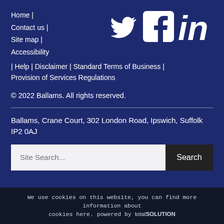Home | Contact us | Site map | Accessibility
[Figure (logo): Twitter bird icon, Facebook logo icon, LinkedIn 'in' logo icon — all white on dark blue background]
| Help | Disclaimer | Standard Terms of Business | Provision of Services Regulations
© 2022 Ballams. All rights reserved.
Ballams, Crane Court, 302 London Road, Ipswich, Suffolk IP2 0AJ
Site Search... Search
We use cookies on this website, you can find more information about cookies here. powered by totalSOLUTION